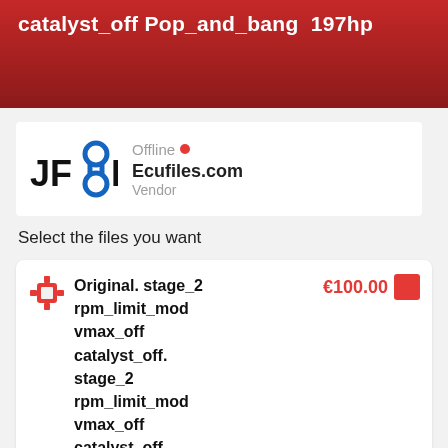catalyst_off Pop_and_bang 197hp
[Figure (logo): JFI logo with chain link symbol in blue and black]
Offline
Ecufiles.com
Vendor
Select the files you want
Original. stage_2 rpm_limit_mod vmax_off catalyst_off. stage_2 rpm_limit_mod vmax_off catalyst_off Pop_and_bang
€100.00
Vendor will send the file